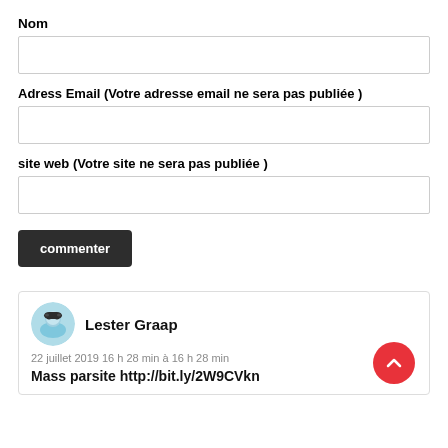Nom
Adress Email (Votre adresse email ne sera pas publiée )
site web (Votre site ne sera pas publiée )
commenter
Lester Graap
22 juillet 2019 16 h 28 min à 16 h 28 min
Mass parsite http://bit.ly/2W9CVkn